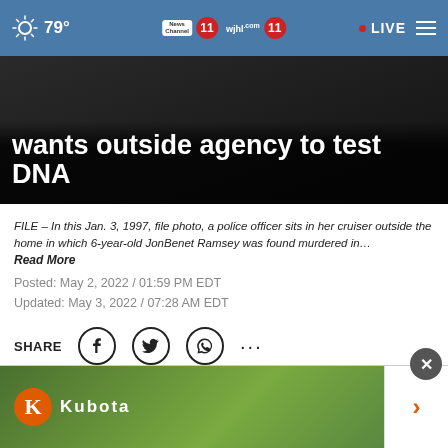79° | News Channel 11 | wjhl.com 11 | LIVE
wants outside agency to test DNA
FILE – In this Jan. 3, 1997, file photo, a police officer sits in her cruiser outside the home in which 6-year-old JonBenet Ramsey was found murdered in… Read More
Posted: May 2, 2022 / 01:59 PM EDT
Updated: May 3, 2022 / 07:28 AM EDT
SHARE
DENV… is suppo…